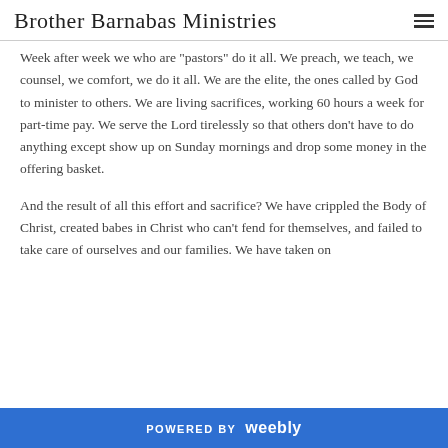Brother Barnabas Ministries
Week after week we who are "pastors" do it all. We preach, we teach, we counsel, we comfort, we do it all. We are the elite, the ones called by God to minister to others. We are living sacrifices, working 60 hours a week for part-time pay. We serve the Lord tirelessly so that others don't have to do anything except show up on Sunday mornings and drop some money in the offering basket.
And the result of all this effort and sacrifice? We have crippled the Body of Christ, created babes in Christ who can't fend for themselves, and failed to take care of ourselves and our families. We have taken on
POWERED BY weebly